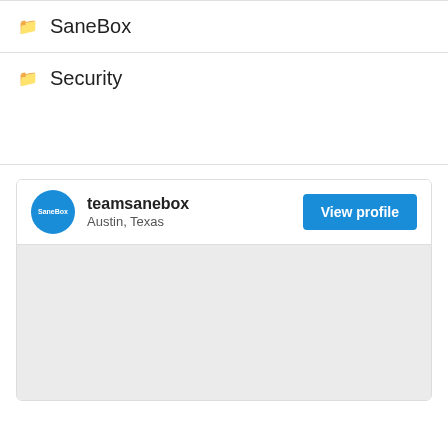SaneBox
Security
[Figure (screenshot): Profile card for teamsanebox located in Austin, Texas with a blue View profile button and a gray content area below]